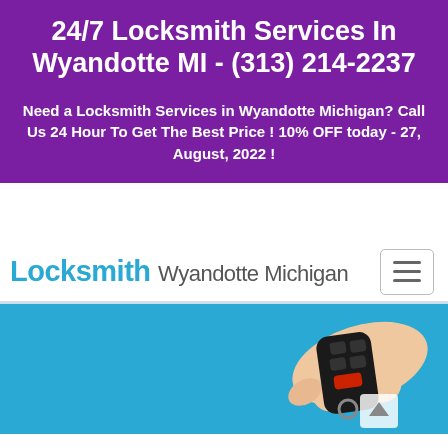24/7 Locksmith Services In Wyandotte MI - (313) 214-2237
Need a Locksmith Services in Wyandotte Michigan? Call Us 24 Hour To Get The Best Price ! 10% OFF today - 27, August, 2022 !
Locksmith Wyandotte Michigan
[Figure (photo): A hand holding a car key fob remote against a light blue background, with a scroll-to-top arrow button visible]